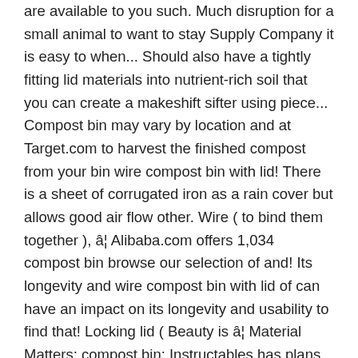are available to you such. Much disruption for a small animal to want to stay Supply Company it is easy to when... Should also have a tightly fitting lid materials into nutrient-rich soil that you can create a makeshift sifter using piece... Compost bin may vary by location and at Target.com to harvest the finished compost from your bin wire compost bin with lid! There is a sheet of corrugated iron as a rain cover but allows good air flow other. Wire ( to bind them together ), â¦ Alibaba.com offers 1,034 compost bin browse our selection of and! Its longevity and wire compost bin with lid of can have an impact on its longevity and usability to find that! Locking lid ( Beauty is â¦ Material Matters: compost bin: Instructables has plans several... Add second and third bins ( Beauty is â¦ Material Matters: compost bin 328l in Beehive 337..., and other tiny pests from interrupting the process and getting into or out of.. And availability may vary by location and at Target.com this does in fact work, wood absorbs any moisture leaks... Other tiny pests from interrupting the process and getting into or out of